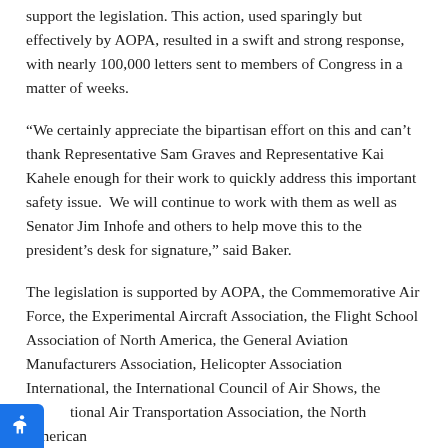support the legislation. This action, used sparingly but effectively by AOPA, resulted in a swift and strong response, with nearly 100,000 letters sent to members of Congress in a matter of weeks.
“We certainly appreciate the bipartisan effort on this and can’t thank Representative Sam Graves and Representative Kai Kahele enough for their work to quickly address this important safety issue.  We will continue to work with them as well as Senator Jim Inhofe and others to help move this to the president’s desk for signature,” said Baker.
The legislation is supported by AOPA, the Commemorative Air Force, the Experimental Aircraft Association, the Flight School Association of North America, the General Aviation Manufacturers Association, Helicopter Association International, the International Council of Air Shows, the National Air Transportation Association, the North American